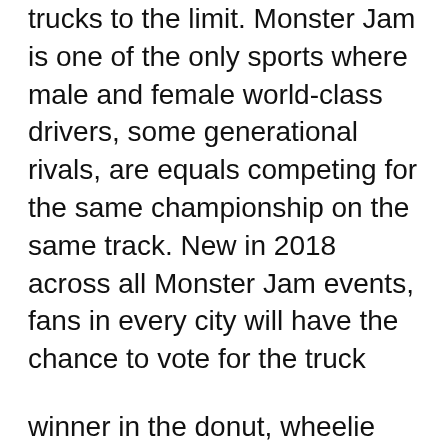trucks to the limit. Monster Jam is one of the only sports where male and female world-class drivers, some generational rivals, are equals competing for the same championship on the same track. New in 2018 across all Monster Jam events, fans in every city will have the chance to vote for the truck
winner in the donut, wheelie and freestyle competitions by real-time, in-arena fan voting on their smartphones. In addition to the world-class racing and freestyle competition action, fans can come to the stadium early to enjoy the Monster Jam ® Pit Party pre-show experience, which gives fans